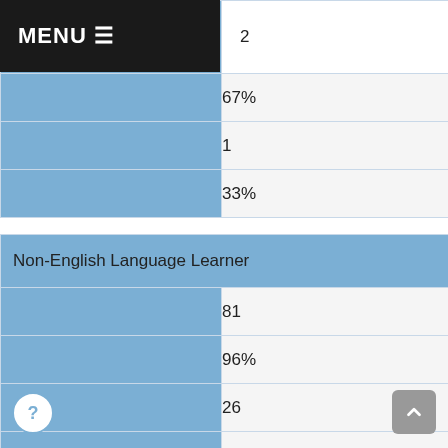|  |  |
| --- | --- |
|  | 2 |
|  | 67% |
|  | 1 |
|  | 33% |
| Non-English Language Learner |  |
|  | 81 |
|  | 96% |
|  | 26 |
|  | 32% |
|  | 55 |
|  | 68% |